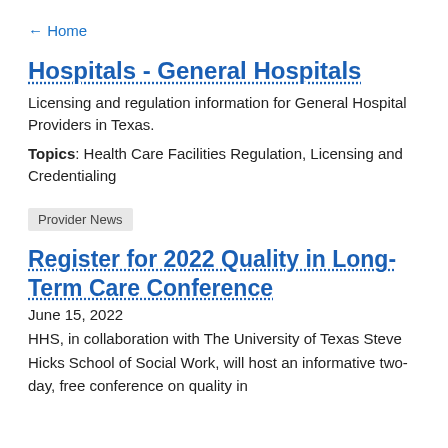← Home
Hospitals - General Hospitals
Licensing and regulation information for General Hospital Providers in Texas.
Topics: Health Care Facilities Regulation, Licensing and Credentialing
Provider News
Register for 2022 Quality in Long-Term Care Conference
June 15, 2022
HHS, in collaboration with The University of Texas Steve Hicks School of Social Work, will host an informative two-day, free conference on quality in